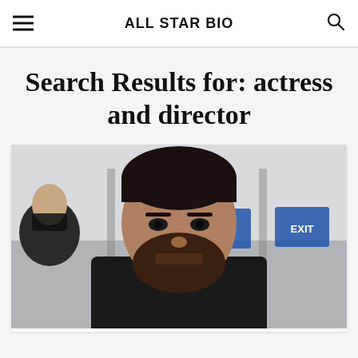ALL STAR BIO
Search Results for: actress and director
[Figure (photo): A man with a beard wearing a black turtleneck and dark coat, standing in front of exit signs, with another person partially visible on the left wearing a face mask.]